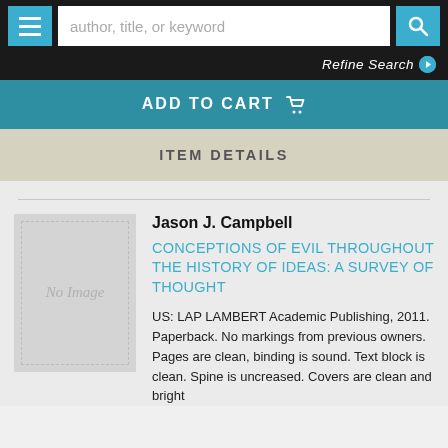[Figure (screenshot): Website navigation bar with hamburger menu button, search input field placeholder 'author, title, or keyword', and search button]
Refine Search
ADD TO CART
ITEM DETAILS
[Figure (illustration): Book cover placeholder image showing 'No Image' text in grey]
Jason J. Campbell
CONCEPTIONS OF EVIL THROUGHOUT THE HISTORY OF IDEAS: A SURVEY OF THOUGHT
US: LAP LAMBERT Academic Publishing, 2011. Paperback. No markings from previous owners. Pages are clean, binding is sound. Text block is clean. Spine is uncreased. Covers are clean and bright